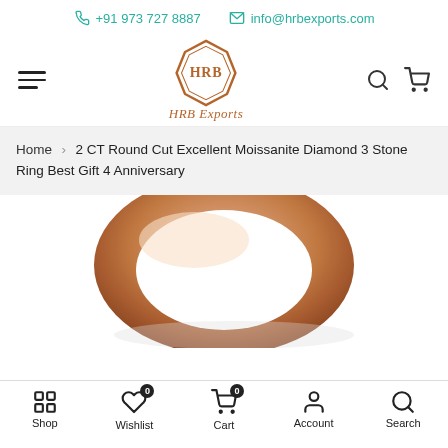+91 973 727 8887   info@hrbexports.com
[Figure (logo): HRB Exports logo — hexagonal diamond shape with HRB monogram inside, in copper/brown color, with italic text 'HRB Exports' below]
Home > 2 CT Round Cut Excellent Moissanite Diamond 3 Stone Ring Best Gift 4 Anniversary
[Figure (photo): Partial view of a rose gold ring showing the top rounded band, photographed on a white background]
Shop   Wishlist 0   Cart 0   Account   Search